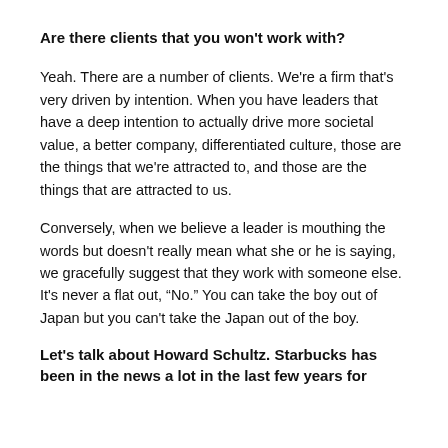Are there clients that you won't work with?
Yeah. There are a number of clients. We're a firm that's very driven by intention. When you have leaders that have a deep intention to actually drive more societal value, a better company, differentiated culture, those are the things that we're attracted to, and those are the things that are attracted to us.
Conversely, when we believe a leader is mouthing the words but doesn't really mean what she or he is saying, we gracefully suggest that they work with someone else. It's never a flat out, “No.” You can take the boy out of Japan but you can't take the Japan out of the boy.
Let's talk about Howard Schultz. Starbucks has been in the news a lot in the last few years for